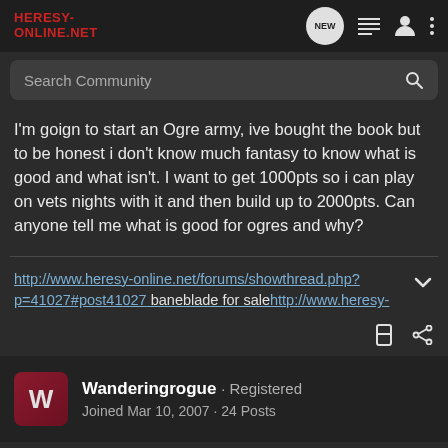Heresy-Online.net
Search Community
I'm goign to start an Ogre army, ive bought the book but to be honest i don't know much fantasy to know what is good and what isn't. I want to get 1000pts so i can play on vets nights with it and then build up to 2000pts. Can anyone tell me what is good for ogres and why?
http://www.heresy-online.net/forums/showthread.php?p=41027#post41027 baneblade for salehttp://www.heresy-
Wanderingrogue · Registered
Joined Mar 10, 2007 · 24 Posts